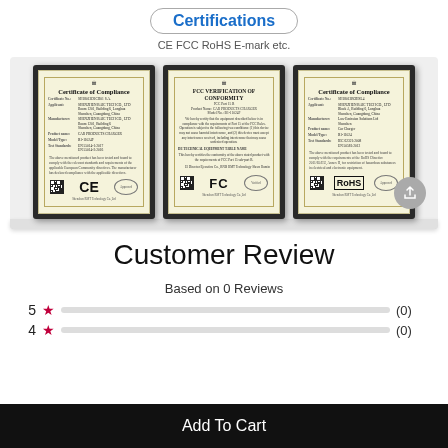Certifications
CE FCC RoHS E-mark etc.
[Figure (photo): Three framed certificates displayed on a shelf: CE Certificate of Compliance, FCC Verification of Conformity, and RoHS Certificate of Compliance]
Customer Review
Based on 0 Reviews
5 ★ (0)
4 ★ (0)
Add To Cart